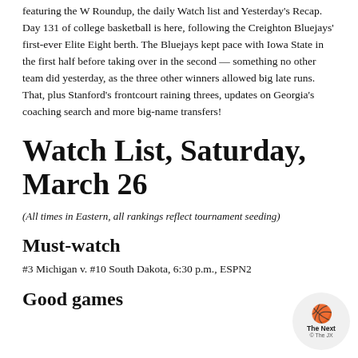featuring the W Roundup, the daily Watch list and Yesterday's Recap. Day 131 of college basketball is here, following the Creighton Bluejays' first-ever Elite Eight berth. The Bluejays kept pace with Iowa State in the first half before taking over in the second — something no other team did yesterday, as the three other winners allowed big late runs. That, plus Stanford's frontcourt raining threes, updates on Georgia's coaching search and more big-name transfers!
Watch List, Saturday, March 26
(All times in Eastern, all rankings reflect tournament seeding)
Must-watch
#3 Michigan v. #10 South Dakota, 6:30 p.m., ESPN2
Good games